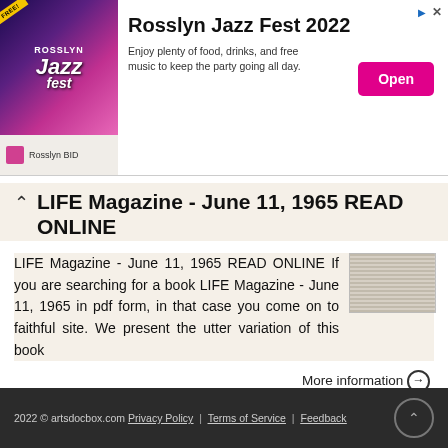[Figure (infographic): Advertisement banner for Rosslyn Jazz Fest 2022 with purple/pink concert image, 'Open' button, and 'Rosslyn BID' branding]
LIFE Magazine - June 11, 1965 READ ONLINE
LIFE Magazine - June 11, 1965 READ ONLINE If you are searching for a book LIFE Magazine - June 11, 1965 in pdf form, in that case you come on to faithful site. We present the utter variation of this book
More information →
2022 © artsdocbox.com Privacy Policy | Terms of Service | Feedback